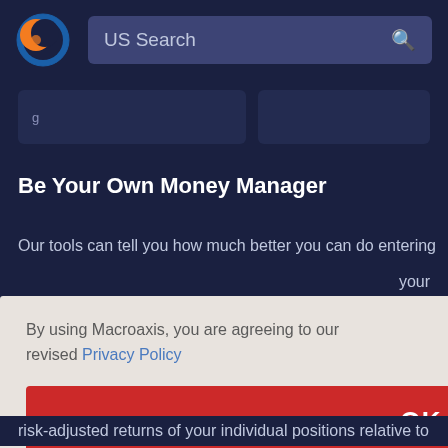[Figure (logo): Macroaxis logo: orange and blue circular icon]
US Search
Be Your Own Money Manager
Our tools can tell you how much better you can do entering your
By using Macroaxis, you are agreeing to our revised Privacy Policy
OK
risk-adjusted returns of your individual positions relative to